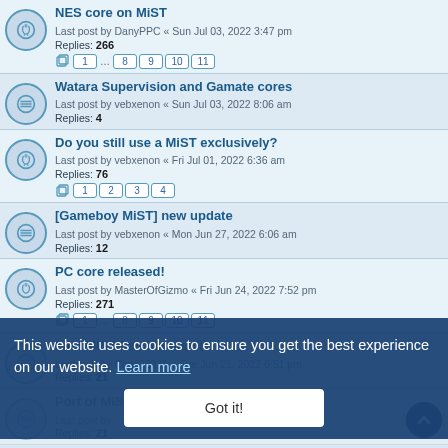NES core on MiST - Last post by DanyPPC « Sun Jul 03, 2022 3:47 pm - Replies: 266 - Pages: 1 ... 8 9 10 11
Watara Supervision and Gamate cores - Last post by vebxenon « Sun Jul 03, 2022 8:06 am - Replies: 4
Do you still use a MiST exclusively? - Last post by vebxenon « Fri Jul 01, 2022 6:36 am - Replies: 76 - Pages: 1 2 3 4
[Gameboy MiST] new update - Last post by vebxenon « Mon Jun 27, 2022 6:06 am - Replies: 12
PC core released! - Last post by MasterOfGizmo « Fri Jun 24, 2022 7:52 pm - Replies: 271 - Pages: 1 ... 8 9 10 11
Last MiST has been sold - Last post by Chris23235 « Tue Jun 21, 2022 6:51 pm - Replies: 21
Port of MiSTer Intellivision core? - Last post - Replies: 21
Simple File-Explorer Core? - Last post by kolla « Sat ... 2022 5:10 pm - Replies: 2
Strange Keyboard issue on some cores - Last post by NZSPY « Thu Jun 02, 2022 8:43 am - Replies: 2
This website uses cookies to ensure you get the best experience on our website. Learn more
Got it!